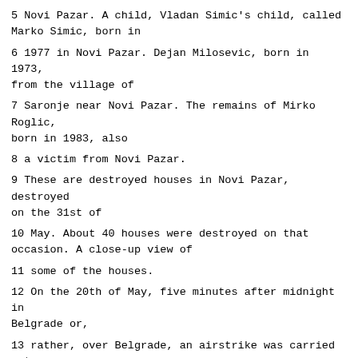5 Novi Pazar. A child, Vladan Simic's child, called Marko Simic, born in
6 1977 in Novi Pazar. Dejan Milosevic, born in 1973, from the village of
7 Saronje near Novi Pazar. The remains of Mirko Roglic, born in 1983, also
8 a victim from Novi Pazar.
9 These are destroyed houses in Novi Pazar, destroyed on the 31st of
10 May. About 40 houses were destroyed on that occasion. A close-up view of
11 some of the houses.
12 On the 20th of May, five minutes after midnight in Belgrade or,
13 rather, over Belgrade, an airstrike was carried out on the Dr. Dragisa
14 Misovic clinical hospital centre. It is a large hospital centre, one of
15 the best known in Yugoslavia. It is situated in Belgrade, as I was saying